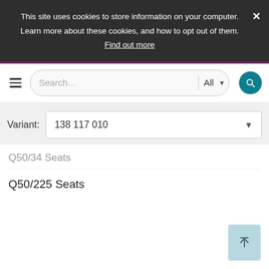This site uses cookies to store information on your computer. Learn more about these cookies, and how to opt out of them. Find out more
[Figure (screenshot): Website navigation bar with hamburger menu, search input field with 'All' category dropdown and teal search button]
Variant: 138 117 010
Q50/34 Seats
Q50/225 Seats
[Figure (other): Scroll-to-top button with upward arrow icon]